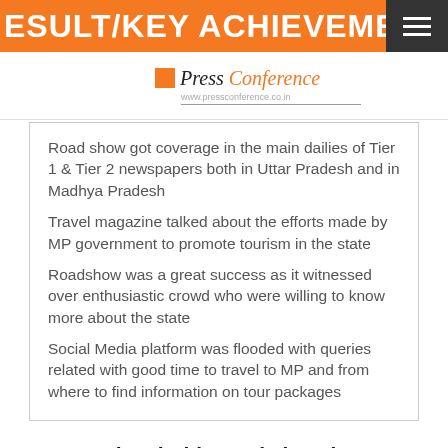ESULT/KEY ACHIEVEMENT
[Figure (logo): Press Conference logo with orange box icon and italicized orange 'Conference' text, URL www.pressconference.co.in below]
Road show got coverage in the main dailies of Tier 1 & Tier 2 newspapers both in Uttar Pradesh and in Madhya Pradesh
Travel magazine talked about the efforts made by MP government to promote tourism in the state
Roadshow was a great success as it witnessed over enthusiastic crowd who were willing to know more about the state
Social Media platform was flooded with queries related with good time to travel to MP and from where to find information on tour packages
"MP tourism holds road show in Lucknow to attract tourists from UP"